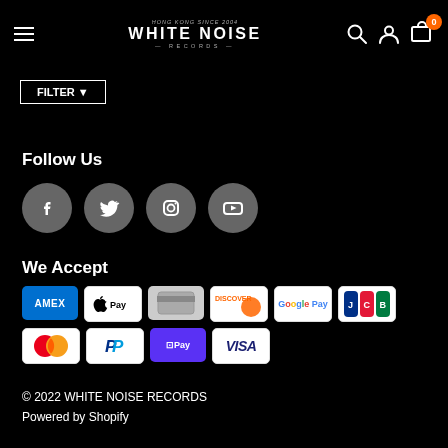WHITE NOISE RECORDS
FILTER ▼
Follow Us
[Figure (illustration): Four social media icons: Facebook, Twitter, Instagram, YouTube — shown as white icons on grey circular backgrounds]
We Accept
[Figure (illustration): Payment method icons: American Express, Apple Pay, generic card, Discover, Google Pay, JCB, Mastercard, PayPal, ShopPay, Visa]
© 2022 WHITE NOISE RECORDS
Powered by Shopify